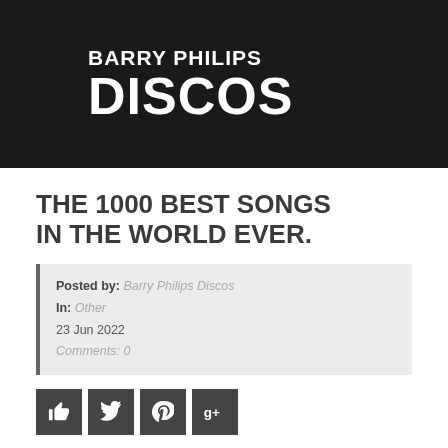BARRY PHILIPS DISCOS
THE 1000 BEST SONGS IN THE WORLD EVER.
Posted by: Barry Philips Discos
In: Other
23 Jun 2022
Comments: 0
[Figure (infographic): Four social share buttons: thumbs up (like), Twitter bird, Pinterest P, Google+ g+]
THE 1000 BEST SONGS IN THE WORLD EVER